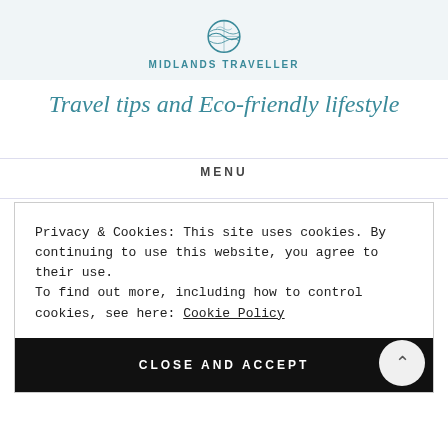[Figure (logo): Midlands Traveller logo — circular illustrated globe with abstract wavy map design in teal/blue outline style, with text MIDLANDS TRAVELLER below in bold teal uppercase letters]
Travel tips and Eco-friendly lifestyle
MENU
Privacy & Cookies: This site uses cookies. By continuing to use this website, you agree to their use.
To find out more, including how to control cookies, see here: Cookie Policy
CLOSE AND ACCEPT